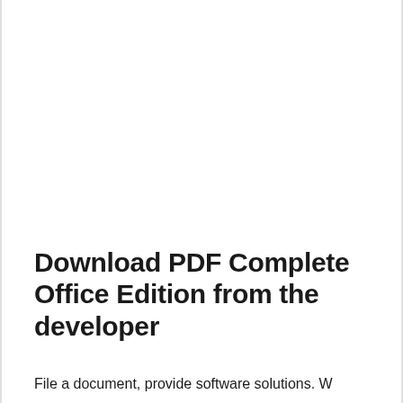Download PDF Complete Office Edition from the developer
File a document, provide software solutions. W...